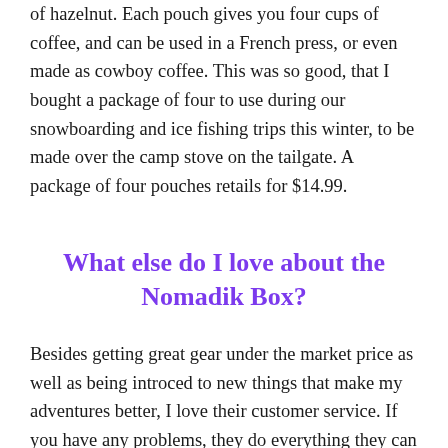of hazelnut. Each pouch gives you four cups of coffee, and can be used in a French press, or even made as cowboy coffee. This was so good, that I bought a package of four to use during our snowboarding and ice fishing trips this winter, to be made over the camp stove on the tailgate. A package of four pouches retails for $14.99.
What else do I love about the Nomadik Box?
Besides getting great gear under the market price as well as being introced to new things that make my adventures better, I love their customer service. If you have any problems, they do everything they can to fix it timely and satisfactory. Nowadays